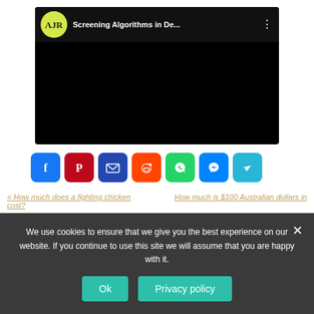[Figure (screenshot): Embedded video player showing AJR logo and title 'Screening Algorithms in De...' with black video area and three-dot menu icon]
[Figure (other): Row of social share buttons: Facebook (blue), Pinterest (red), Email (dark blue), Reddit (orange), WhatsApp (green), Messenger (blue), Telegram (teal)]
< How much does a fighting chicken cost?
How much is $100 Australian dollars in
We use cookies to ensure that we give you the best experience on our website. If you continue to use this site we will assume that you are happy with it.
Ok
Privacy policy